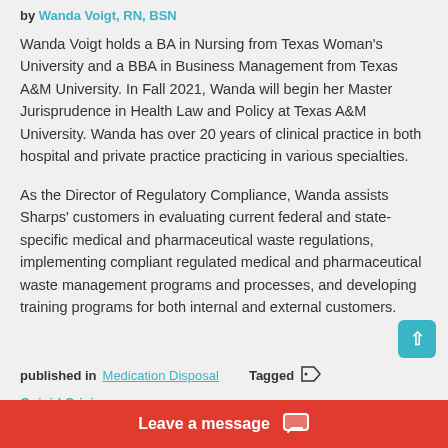by Wanda Voigt, RN, BSN
Wanda Voigt holds a BA in Nursing from Texas Woman's University and a BBA in Business Management from Texas A&M University. In Fall 2021, Wanda will begin her Master Jurisprudence in Health Law and Policy at Texas A&M University. Wanda has over 20 years of clinical practice in both hospital and private practice practicing in various specialties.
As the Director of Regulatory Compliance, Wanda assists Sharps' customers in evaluating current federal and state-specific medical and pharmaceutical waste regulations, implementing compliant regulated medical and pharmaceutical waste management programs and processes, and developing training programs for both internal and external customers.
published in Medication Disposal   Tagged
Opioid Crisis
Leave a message